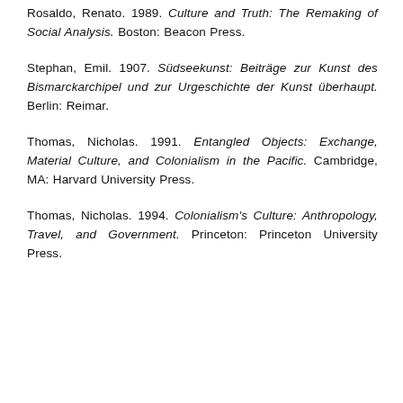Rosaldo, Renato. 1989. Culture and Truth: The Remaking of Social Analysis. Boston: Beacon Press.
Stephan, Emil. 1907. Südseekunst: Beiträge zur Kunst des Bismarckarchipel und zur Urgeschichte der Kunst überhaupt. Berlin: Reimar.
Thomas, Nicholas. 1991. Entangled Objects: Exchange, Material Culture, and Colonialism in the Pacific. Cambridge, MA: Harvard University Press.
Thomas, Nicholas. 1994. Colonialism's Culture: Anthropology, Travel, and Government. Princeton: Princeton University Press.